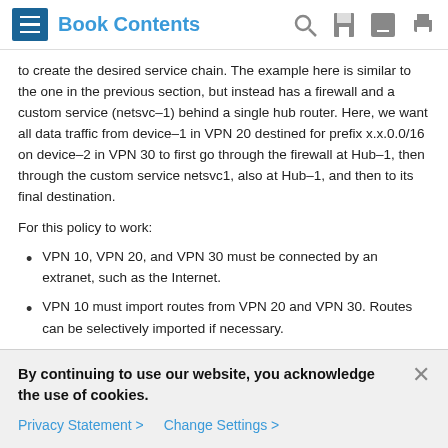Book Contents
to create the desired service chain. The example here is similar to the one in the previous section, but instead has a firewall and a custom service (netsvc–1) behind a single hub router. Here, we want all data traffic from device–1 in VPN 20 destined for prefix x.x.0.0/16 on device–2 in VPN 30 to first go through the firewall at Hub–1, then through the custom service netsvc1, also at Hub–1, and then to its final destination.
For this policy to work:
VPN 10, VPN 20, and VPN 30 must be connected by an extranet, such as the Internet.
VPN 10 must import routes from VPN 20 and VPN 30. Routes can be selectively imported if necessary.
By continuing to use our website, you acknowledge the use of cookies.
Privacy Statement > Change Settings >